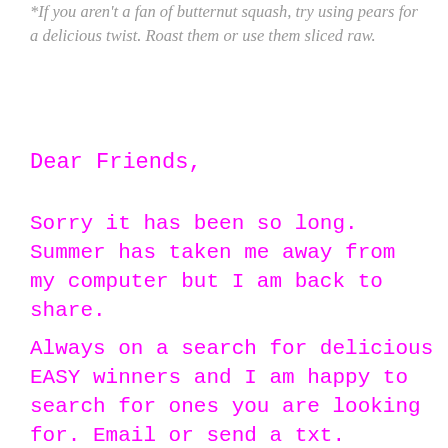*If you aren't a fan of butternut squash, try using pears for a delicious twist. Roast them or use them sliced raw.
Dear Friends,
Sorry it has been so long. Summer has taken me away from my computer but I am back to share.
Always on a search for delicious EASY winners and I am happy to search for ones you are looking for. Email or send a txt.